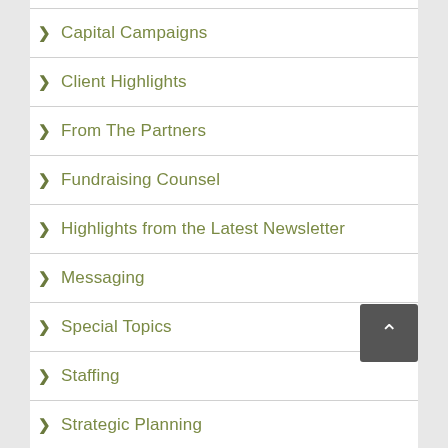Capital Campaigns
Client Highlights
From The Partners
Fundraising Counsel
Highlights from the Latest Newsletter
Messaging
Special Topics
Staffing
Strategic Planning